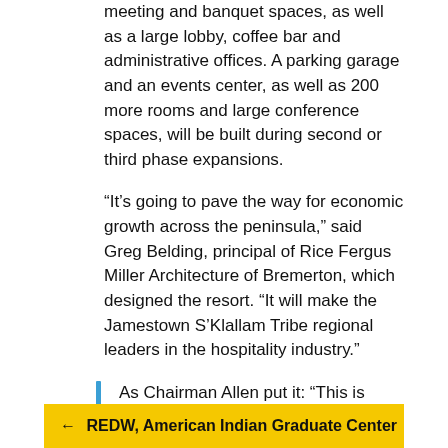meeting and banquet spaces, as well as a large lobby, coffee bar and administrative offices. A parking garage and an events center, as well as 200 more rooms and large conference spaces, will be built during second or third phase expansions.
“It’s going to pave the way for economic growth across the peninsula,” said Greg Belding, principal of Rice Fergus Miller Architecture of Bremerton, which designed the resort. “It will make the Jamestown S’Klallam Tribe regional leaders in the hospitality industry.”
As Chairman Allen put it: “This is going to reflect a four-star, four-diamond property. We’re referring to this as a gateway to the Olympic Peninsula.”
← REDW, American Indian Graduate Center